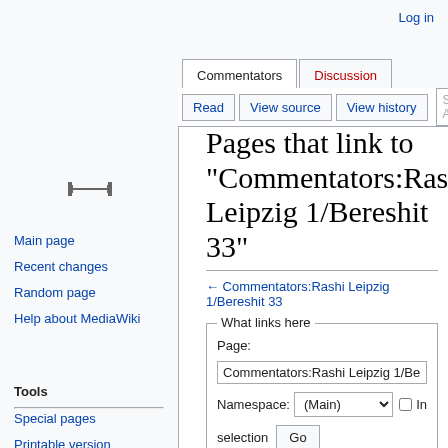Log in
Commentators | Discussion
Read | View source | View history | Search | Help
Pages that link to "Commentators:Rashi Leipzig 1/Bereshit 33"
← Commentators:Rashi Leipzig 1/Bereshit 33
What links here
Page:
Commentators:Rashi Leipzig 1/Bereshit 33
Namespace: (Main) ☐ In selection
Go
Main page
Recent changes
Random page
Help about MediaWiki
Tools
Special pages
Printable version